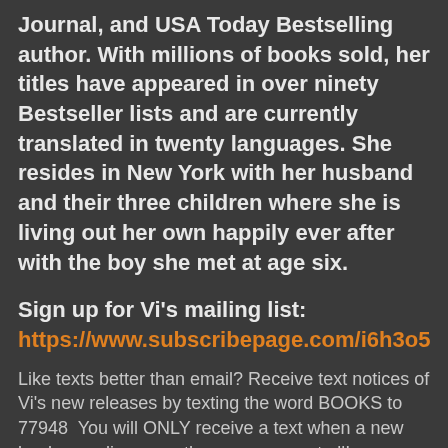Journal, and USA Today Bestselling author. With millions of books sold, her titles have appeared in over ninety Bestseller lists and are currently translated in twenty languages. She resides in New York with her husband and their three children where she is living out her own happily ever after with the boy she met at age six.
Sign up for Vi's mailing list: https://www.subscribepage.com/i6h3o5
Like texts better than email? Receive text notices of Vi's new releases by texting the word BOOKS to 77948  You will ONLY receive a text when a new book goes live - no other messages at all!
Find Vi here: Facebook Fan Group:
https://www.facebook.com/groups/ViKeelandFa...